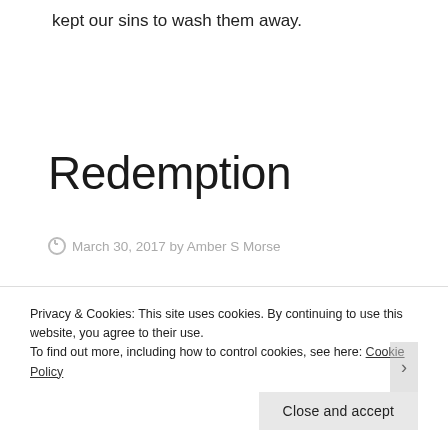kept our sins to wash them away.
Redemption
March 30, 2017 by Amber S Morse
Privacy & Cookies: This site uses cookies. By continuing to use this website, you agree to their use.
To find out more, including how to control cookies, see here: Cookie Policy
Close and accept